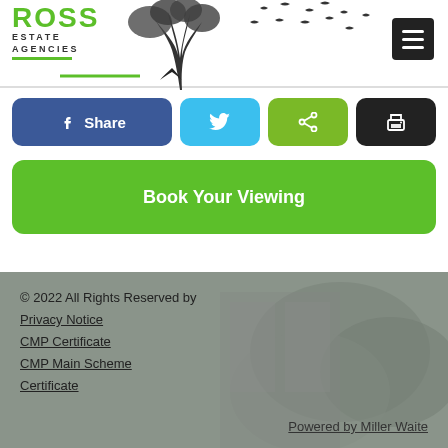[Figure (logo): Ross Estate Agencies logo with tree and birds illustration]
[Figure (infographic): Social sharing buttons row: Facebook Share, Twitter, Share (green), Print (black)]
[Figure (infographic): Green Book Your Viewing button]
© 2022 All Rights Reserved by
Privacy Notice
CMP Certificate
CMP Main Scheme Certificate
Powered by Miller Waite